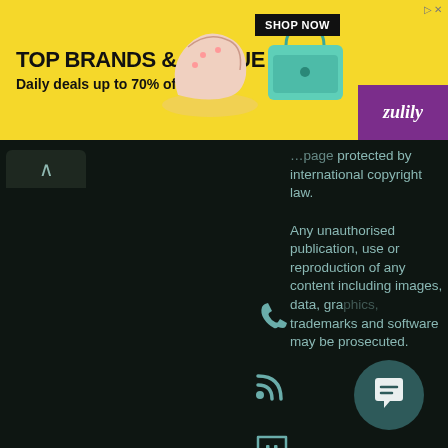[Figure (screenshot): Advertisement banner for Zulily: TOP BRANDS & UNIQUE FINDS, Daily deals up to 70% off, with shoe and bag images, SHOP NOW button, and Zulily logo on purple background]
[Figure (screenshot): Dark background website section showing social media icons (phone, RSS, Twitch, Pinterest, Blogger) arranged vertically, with a back/up arrow button, and copyright text on the right side about international copyright law and unauthorised publication or reproduction]
protected by international copyright law. Any unauthorised publication, use or reproduction of any content including images, data, graphics, trademarks and software may be prosecuted.